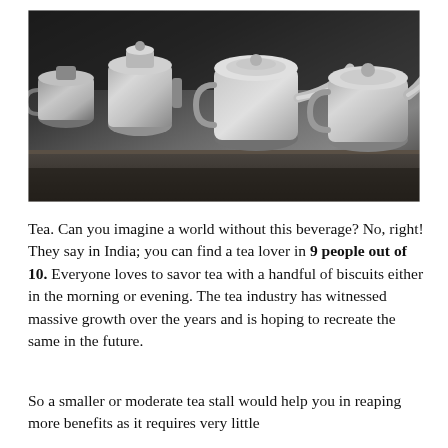[Figure (photo): Photograph of multiple silver/aluminum kettles and pots sitting on a dark stone or concrete surface, likely a tea stall or market setting.]
Tea. Can you imagine a world without this beverage? No, right! They say in India; you can find a tea lover in 9 people out of 10. Everyone loves to savor tea with a handful of biscuits either in the morning or evening. The tea industry has witnessed massive growth over the years and is hoping to recreate the same in the future.
So a smaller or moderate tea stall would help you in reaping more benefits as it requires very little investment and small dedication.